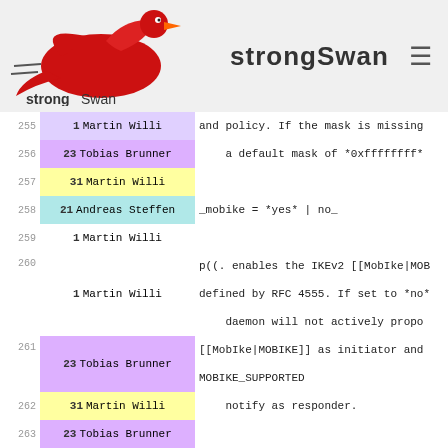[Figure (logo): strongSwan logo with red swan bird and text 'strongSwan']
| line | num | author | code/text |
| --- | --- | --- | --- |
| 255 | 1 | Martin Willi | and policy. If the mask is missing |
| 256 | 23 | Tobias Brunner | a default mask of *0xffffffff* |
| 257 | 31 | Martin Willi |  |
| 258 | 21 | Andreas Steffen | _mobike = *yes* | no_ |
| 259 | 1 | Martin Willi |  |
| 260 | 1 | Martin Willi | p((. enables the IKEv2 [[MobIke|MOBdefined by RFC 4555. If set to *no*daemon will not actively propo |
| 261 | 23 | Tobias Brunner | [[MobIke|MOBIKE]] as initiator and MOBIKE_SUPPORTED |
| 262 | 31 | Martin Willi | notify as responder. |
| 263 | 23 | Tobias Brunner |  |
| 264 | 57 | Tobias Brunner | _modeconfig = push | *pull*_ |
| 265 | 21 | Andreas Steffen |  |
| 266 | 1 | Martin Willi | p((. defines which mode is used tovirtual IP. Currently relevant forsince IKEv2 always usesthe configuration payload in * |
| 267 | 1 | Martin Willi | Cisco VPN gateways usually operate In versions prior to [[5.1.1] |
| 268 | 70 | Tobias Brunner |  |